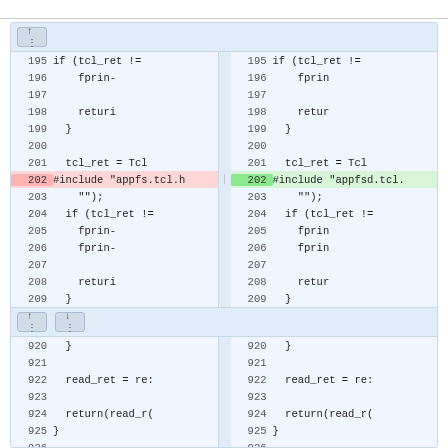[Figure (screenshot): Code diff view showing two-pane comparison of source code changes. Left pane shows old version, right pane shows new version. Line 202 is highlighted: left (deleted) shows '#include "appfs.tcl.h"' in red, right (added) shows '#include "appfsd.tcl.h"' in green. Lines 195-209 and 920-926 are visible with navigation controls between sections.]